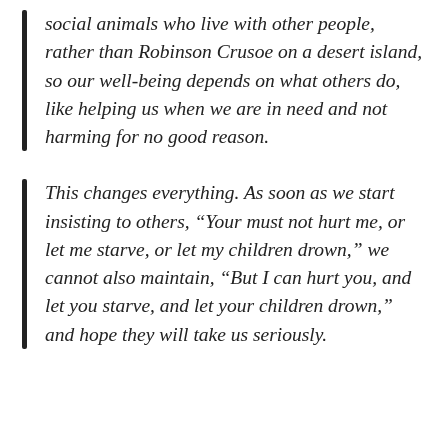social animals who live with other people, rather than Robinson Crusoe on a desert island, so our well-being depends on what others do, like helping us when we are in need and not harming for no good reason.
This changes everything. As soon as we start insisting to others, “Your must not hurt me, or let me starve, or let my children drown,” we cannot also maintain, “But I can hurt you, and let you starve, and let your children drown,” and hope they will take us seriously.